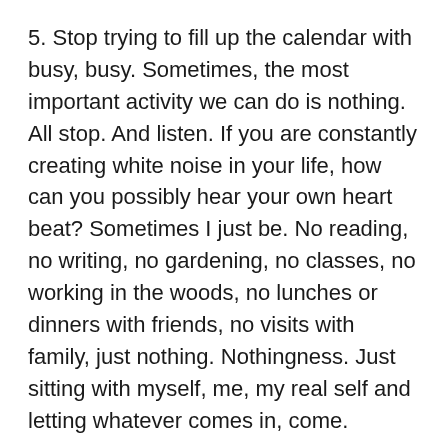5. Stop trying to fill up the calendar with busy, busy. Sometimes, the most important activity we can do is nothing. All stop. And listen. If you are constantly creating white noise in your life, how can you possibly hear your own heart beat? Sometimes I just be. No reading, no writing, no gardening, no classes, no working in the woods, no lunches or dinners with friends, no visits with family, just nothing. Nothingness. Just sitting with myself, me, my real self and letting whatever comes in, come.
6. Get yourself some business cards and put your new title on it. I got cards when I started this blog shortly after retiring. I listed myself as a Writer/Blogger. Be inventive. You could be World Traveler or Life Adventurer or Seeker of Fun or RV Road Warrior or Golfer Extraordinaire or Textile Artist or History Buff or Second Childhood